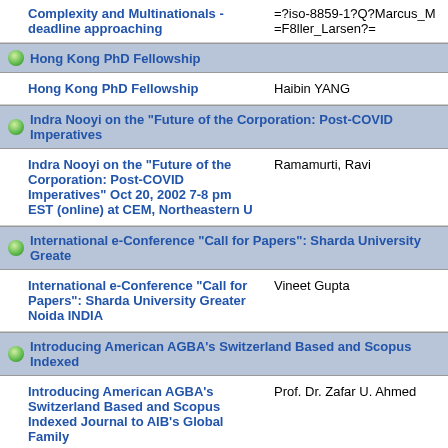Complexity and Multinationals - deadline approaching | =?iso-8859-1?Q?Marcus_M=F8ller_Larsen?=
Hong Kong PhD Fellowship
Hong Kong PhD Fellowship | Haibin YANG
Indra Nooyi on the "Future of the Corporation: Post-COVID Imperatives
Indra Nooyi on the "Future of the Corporation: Post-COVID Imperatives" Oct 20, 2002 7-8 pm EST (online) at CEM, Northeastern U | Ramamurti, Ravi
International e-Conference "Call for Papers": Sharda University Greater
International e-Conference "Call for Papers": Sharda University Greater Noida INDIA | Vineet Gupta
Introducing American AGBA's Switzerland Based and Scopus Indexed
Introducing American AGBA's Switzerland Based and Scopus Indexed Journal to AIB's Global Family | Prof. Dr. Zafar U. Ahmed
Introducing Switzerland Based and Scopus Indexed Journal to AIB's G